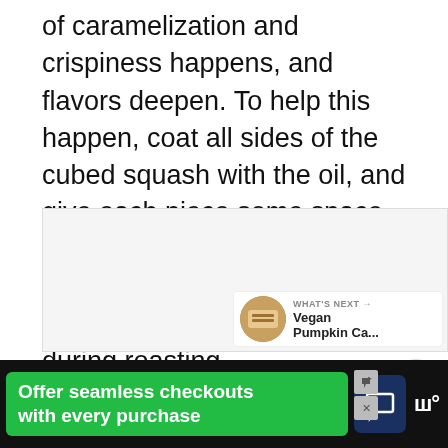of caramelization and crispiness happens, and flavors deepen. To help this happen, coat all sides of the cubed squash with the oil, and give each piece some space. Spread it out in a single layer and roast only once the oven is preheated. Toss once during roasting.
[Figure (other): Light gray image placeholder area with UI overlay buttons: a pink heart/favorite button and a gray share button. A 'What's Next' card shows a food thumbnail (Vegan Pumpkin Ca...) in the bottom right.]
[Figure (screenshot): Advertisement banner at the bottom: black background with a green ad for 'Offer seamless checkouts with every purchase', a dark blue chat bubble icon, and the Walmart (W) logo with degree symbol.]